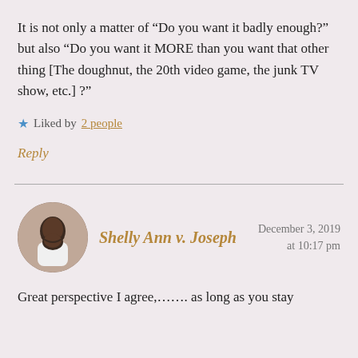It is not only a matter of “Do you want it badly enough?” but also “Do you want it MORE than you want that other thing [The doughnut, the 20th video game, the junk TV show, etc.] ?”
★ Liked by 2 people
Reply
Shelly Ann v. Joseph December 3, 2019 at 10:17 pm
Great perspective I agree,……. as long as you stay